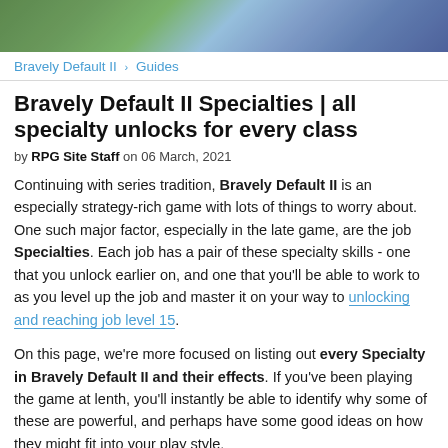[Figure (photo): Hero image showing game characters in blue and green costume/scenery from Bravely Default II]
Bravely Default II › Guides
Bravely Default II Specialties | all specialty unlocks for every class
by RPG Site Staff on 06 March, 2021
Continuing with series tradition, Bravely Default II is an especially strategy-rich game with lots of things to worry about. One such major factor, especially in the late game, are the job Specialties. Each job has a pair of these specialty skills - one that you unlock earlier on, and one that you'll be able to work to as you level up the job and master it on your way to unlocking and reaching job level 15.
On this page, we're more focused on listing out every Specialty in Bravely Default II and their effects. If you've been playing the game at lenth, you'll instantly be able to identify why some of these are powerful, and perhaps have some good ideas on how they might fit into your play style.
The job specialty system does become vitally important as you get into the harder content of BD2. In fact, the available specialties will in some ways shape your strategy as you head into